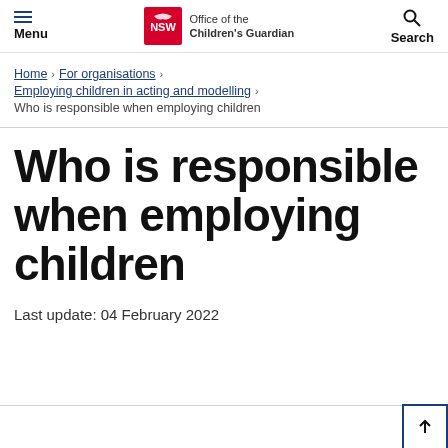Menu | Office of the Children's Guardian | Search
Home > For organisations > Employing children in acting and modelling > Who is responsible when employing children
Who is responsible when employing children
Last update: 04 February 2022